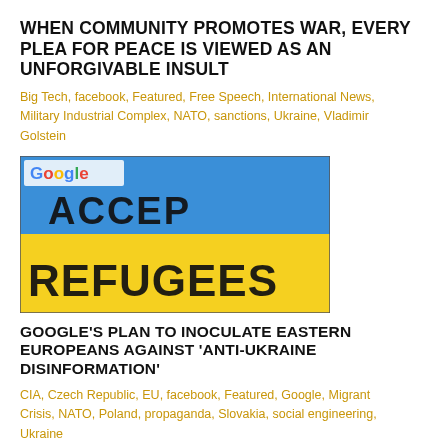WHEN COMMUNITY PROMOTES WAR, EVERY PLEA FOR PEACE IS VIEWED AS AN UNFORGIVABLE INSULT
Big Tech, facebook, Featured, Free Speech, International News, Military Industrial Complex, NATO, sanctions, Ukraine, Vladimir Golstein
[Figure (photo): Photo of a Ukrainian flag with 'ACCEPT REFUGEES' written on it in black letters, with a Google logo watermark in the upper-left corner.]
GOOGLE'S PLAN TO INOCULATE EASTERN EUROPEANS AGAINST 'ANTI-UKRAINE DISINFORMATION'
CIA, Czech Republic, EU, facebook, Featured, Google, Migrant Crisis, NATO, Poland, propaganda, Slovakia, social engineering, Ukraine